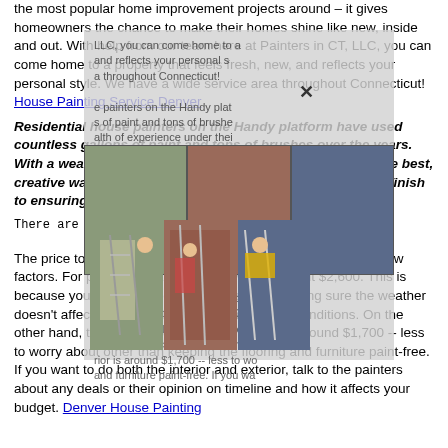the most popular home improvement projects around – it gives homeowners the chance to make their homes shine like new, inside and out. With help from our team here at Painters in CT, LLC, you can come home to a property that feels fresh, new, and reflects your personal style. We have a wide service area throughout Connecticut! House Painting Service Denver
Residential house painters on the Handy platform have used countless gallons of paint and tons of brushes over the years. With a wealth of experience under their belts, they know the best, creative ways to get the work done. From a perfect glossy finish to ensuring crown molding, you might find y...
There are a number of factors that affect how frequently
[Figure (photo): Three photos of house painters working on ladders on exterior of homes]
The price to paint an interior versus an exterior depends on a few factors. For painting an exterior, you will pay about $2,600. This is because you have to account for the siding, making sure the weather doesn't affect the job and dealing with weather conditions. On the other hand, the price to paint a home interior is around $1,700 -- less to worry about other than keeping the flooring and furniture paint-free. If you want to do both the interior and exterior, talk to the painters about any deals or their opinion on timeline and how it affects your budget. Denver House Painting